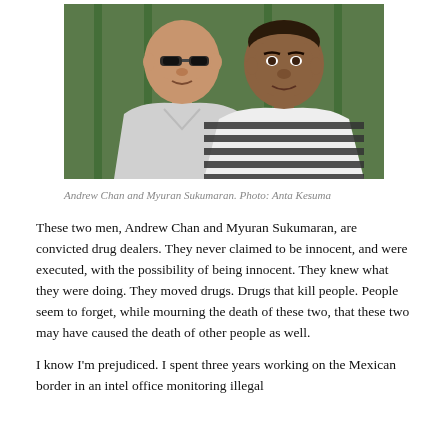[Figure (photo): Two men standing outdoors. The man on the left is bald, wearing sunglasses and a light grey t-shirt. The man on the right has dark hair and is wearing a black and white horizontal striped shirt.]
Andrew Chan and Myuran Sukumaran. Photo: Anta Kesuma
These two men, Andrew Chan and Myuran Sukumaran, are convicted drug dealers. They never claimed to be innocent, and were executed, with the possibility of being innocent. They knew what they were doing. They moved drugs. Drugs that kill people. People seem to forget, while mourning the death of these two, that these two may have caused the death of other people as well.
I know I'm prejudiced. I spent three years working on the Mexican border in an intel office monitoring illegal